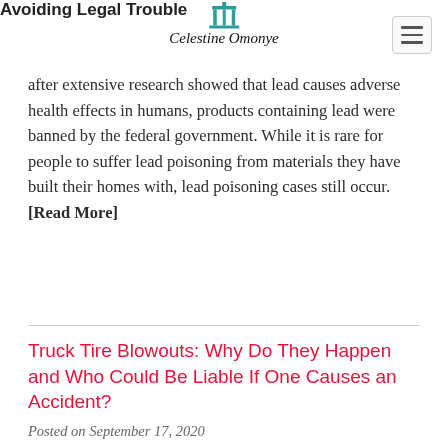Avoiding Legal Trouble
after extensive research showed that lead causes adverse health effects in humans, products containing lead were banned by the federal government. While it is rare for people to suffer lead poisoning from materials they have built their homes with, lead poisoning cases still occur. [Read More]
Truck Tire Blowouts: Why Do They Happen and Who Could Be Liable If One Causes an Accident?
Posted on September 17, 2020